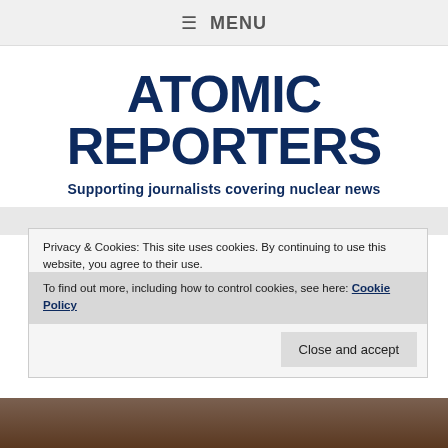≡ MENU
ATOMIC REPORTERS
Supporting journalists covering nuclear news
Privacy & Cookies: This site uses cookies. By continuing to use this website, you agree to their use.
To find out more, including how to control cookies, see here: Cookie Policy
Close and accept